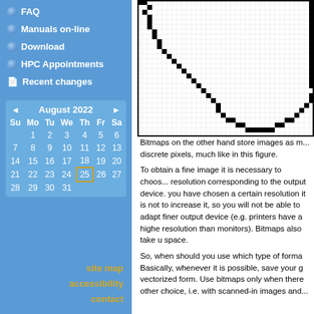FAQ
Manuals on-line
Download
HPC Appointments
Recent changes
| Su | Mo | Tu | We | Th | Fr | Sa |
| --- | --- | --- | --- | --- | --- | --- |
|  | 1 | 2 | 3 | 4 | 5 | 6 |
| 7 | 8 | 9 | 10 | 11 | 12 | 13 |
| 14 | 15 | 16 | 17 | 18 | 19 | 20 |
| 21 | 22 | 23 | 24 | 25 | 26 | 27 |
| 28 | 29 | 30 | 31 |  |  |  |
site map
accessibility
contact
[Figure (other): Bitmap pixel grid showing a curved shape rendered as discrete black and white square pixels on a grid]
Bitmaps on the other hand store images as m... discrete pixels, much like in this figure.
To obtain a fine image it is necessary to choos... resolution corresponding to the output device. you have chosen a certain resolution it is not to increase it, so you will not be able to adapt finer output device (e.g. printers have a highe resolution than monitors). Bitmaps also take u space.
So, when should you use which type of forma Basically, whenever it is possible, save your g vectorized form. Use bitmaps only when there other choice, i.e. with scanned-in images and...